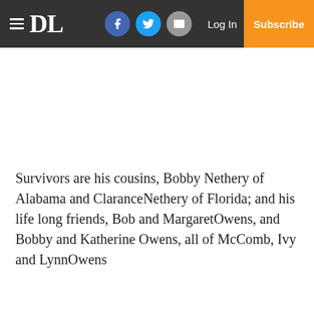≡ DL [Facebook] [Twitter] [Mail] Log In Subscribe
Survivors are his cousins, Bobby Nethery of Alabama and ClaranceNethery of Florida; and his life long friends, Bob and MargaretOwens, and Bobby and Katherine Owens, all of McComb, Ivy and LynnOwens